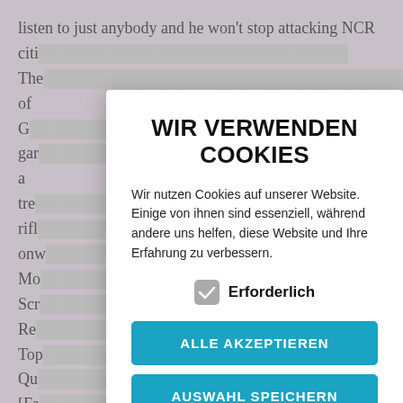listen to just anybody and he won't stop attacking NCR citi... Fa... The... c of G... gar... n a tre... r rifl... onw... Mo... Scr... es Re... Top... R Qu... [Fa... New Vegas at IGN: walkthroughs, items, maps, video tio...
WIR VERWENDEN COOKIES
Wir nutzen Cookies auf unserer Website. Einige von ihnen sind essenziell, während andere uns helfen, diese Website und Ihre Erfahrung zu verbessern.
Erforderlich
ALLE AKZEPTIEREN
AUSWAHL SPEICHERN
Cookie-Einstellungen